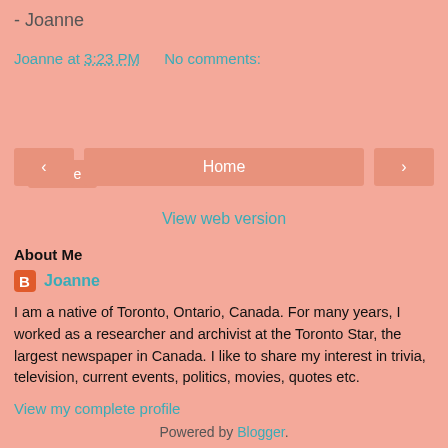- Joanne
Joanne at 3:23 PM   No comments:
Share
< Home >
View web version
About Me
Joanne
I am a native of Toronto, Ontario, Canada. For many years, I worked as a researcher and archivist at the Toronto Star, the largest newspaper in Canada. I like to share my interest in trivia, television, current events, politics, movies, quotes etc.
View my complete profile
Powered by Blogger.